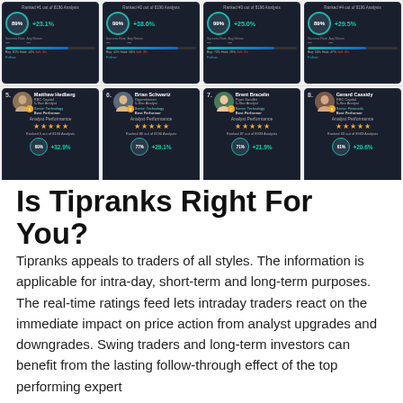[Figure (screenshot): Grid of analyst performance cards from TipRanks platform, rows 1-2 showing 8 analysts (cards 1-8) with photos, star ratings, success rates, and average returns. Row 1 (top, partial): cards 1-4. Row 2: cards 5-8 showing Matthew Hedberg (RBC Capital), Brian Schwartz (Oppenheimer), Brent Bracelin (Piper Sandler), Gerard Cassidy (RBC Capital) with 5-star ratings and returns like +32.9%, +29.1%, +21.9%, +20.6%.]
Is Tipranks Right For You?
Tipranks appeals to traders of all styles. The information is applicable for intra-day, short-term and long-term purposes. The real-time ratings feed lets intraday traders react on the immediate impact on price action from analyst upgrades and downgrades. Swing traders and long-term investors can benefit from the lasting follow-through effect of the top performing expert